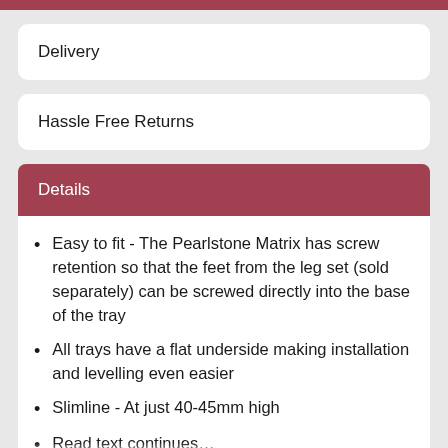Delivery
Hassle Free Returns
Details
Easy to fit - The Pearlstone Matrix has screw retention so that the feet from the leg set (sold separately) can be screwed directly into the base of the tray
All trays have a flat underside making installation and levelling even easier
Slimline - At just 40-45mm high
Read text continues on next page...